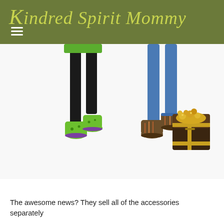Kindred Spirit Mommy
[Figure (photo): Two children's lower bodies wearing boots — left child in green boots with black leggings and green top near a treasure chest with gold coins, right child in patterned boots with jeans. A treasure chest overflowing with gold is visible on the right side.]
The awesome news? They sell all of the accessories separately